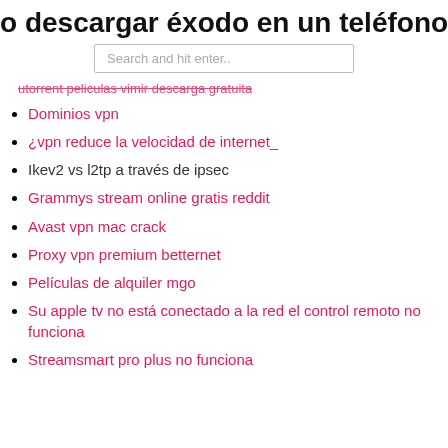o descargar éxodo en un teléfono an
Search and hit enter..
utorrent peliculas vimir descarga gratuita
Dominios vpn
¿vpn reduce la velocidad de internet_
Ikev2 vs l2tp a través de ipsec
Grammys stream online gratis reddit
Avast vpn mac crack
Proxy vpn premium betternet
Películas de alquiler mgo
Su apple tv no está conectado a la red el control remoto no funciona
Streamsmart pro plus no funciona